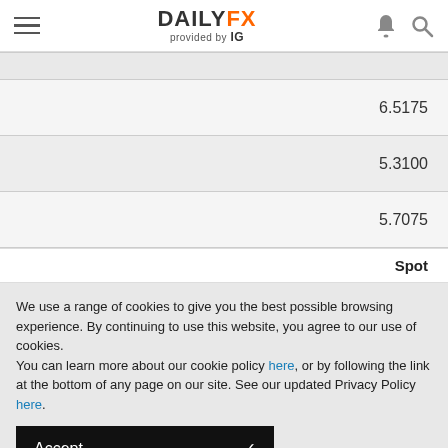DAILYFX provided by IG
| 6.5175 |
| 5.3100 |
| 5.7075 |
Spot
We use a range of cookies to give you the best possible browsing experience. By continuing to use this website, you agree to our use of cookies.
You can learn more about our cookie policy here, or by following the link at the bottom of any page on our site. See our updated Privacy Policy here.
Accept